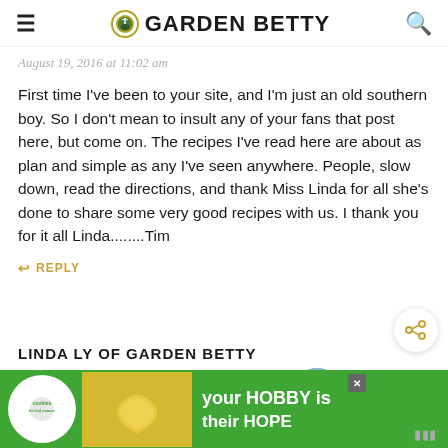GARDEN BETTY
August 19, 2016 at 11:02 am
First time I've been to your site, and I'm just an old southern boy. So I don't mean to insult any of your fans that post here, but come on. The recipes I've read here are about as plan and simple as any I've seen anywhere. People, slow down, read the directions, and thank Miss Linda for all she's done to share some very good recipes with us. I thank you for it all Linda........Tim
REPLY
WHAT'S NEXT → Easy Bee Identificatio...
LINDA LY OF GARDEN BETTY
[Figure (infographic): Advertisement banner: cookies for kid cancer logo, heart-shaped cookie image, text 'your HOBBY is their HOPE' on green background]